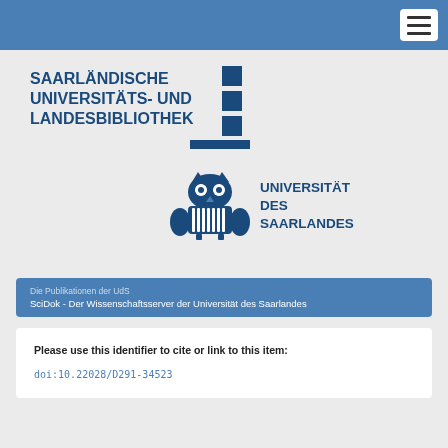[Figure (logo): Navigation bar with hamburger menu icon at top right on blue background]
[Figure (logo): Saarländische Universitäts- und Landesbibliothek logo with geometric column graphic in dark blue]
[Figure (logo): Universität des Saarlandes logo with owl mascot and text in dark blue]
Die Publikationen der UdS
SciDok - Der Wissenschaftsserver der Universität des Saarlandes
Please use this identifier to cite or link to this item:
doi:10.22028/D291-34523